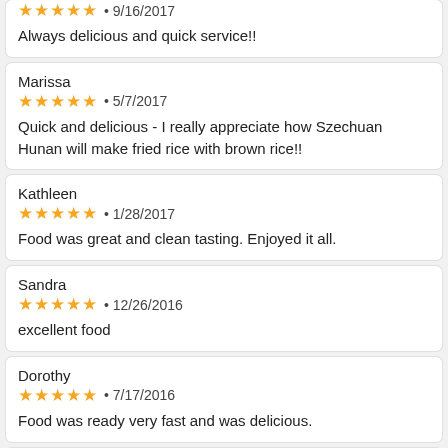★★★★★ • 9/16/2017
Always delicious and quick service!!
Marissa
★★★★★ • 5/7/2017
Quick and delicious - I really appreciate how Szechuan Hunan will make fried rice with brown rice!!
Kathleen
★★★★★ • 1/28/2017
Food was great and clean tasting. Enjoyed it all.
Sandra
★★★★★ • 12/26/2016
excellent food
Dorothy
★★★★★ • 7/17/2016
Food was ready very fast and was delicious.
Kim
★★★★★ • 5/22/2016
Food was ready at the time I requested. Employees were very friendly and helpful. My order of shrimp with cashew nuts was a large portion. There is enough for one or two more servings. The food was very tasty and satisfied my craving for Chinese food